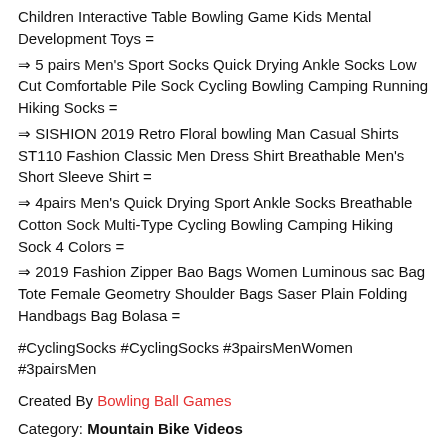Children Interactive Table Bowling Game Kids Mental Development Toys =
⇒ 5 pairs Men's Sport Socks Quick Drying Ankle Socks Low Cut Comfortable Pile Sock Cycling Bowling Camping Running Hiking Socks =
⇒ SISHION 2019 Retro Floral bowling Man Casual Shirts ST110 Fashion Classic Men Dress Shirt Breathable Men's Short Sleeve Shirt =
⇒ 4pairs Men's Quick Drying Sport Ankle Socks Breathable Cotton Sock Multi-Type Cycling Bowling Camping Hiking Sock 4 Colors =
⇒ 2019 Fashion Zipper Bao Bags Women Luminous sac Bag Tote Female Geometry Shoulder Bags Saser Plain Folding Handbags Bag Bolasa =
#CyclingSocks #CyclingSocks #3pairsMenWomen #3pairsMen
Created By Bowling Ball Games
Category: Mountain Bike Videos